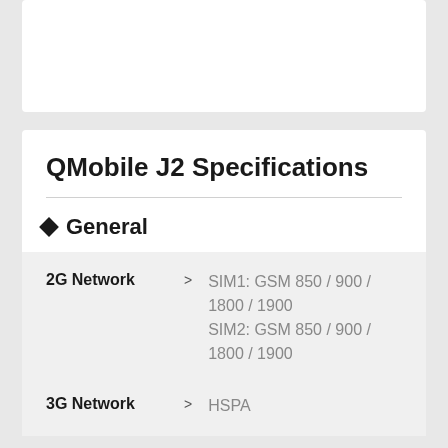QMobile J2 Specifications
General
| Property |  | Value |
| --- | --- | --- |
| 2G Network | > | SIM1: GSM 850 / 900 / 1800 / 1900
SIM2: GSM 850 / 900 / 1800 / 1900 |
| 3G Network | > | HSPA |